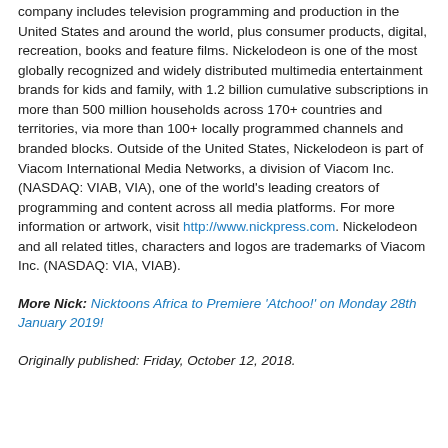company includes television programming and production in the United States and around the world, plus consumer products, digital, recreation, books and feature films. Nickelodeon is one of the most globally recognized and widely distributed multimedia entertainment brands for kids and family, with 1.2 billion cumulative subscriptions in more than 500 million households across 170+ countries and territories, via more than 100+ locally programmed channels and branded blocks. Outside of the United States, Nickelodeon is part of Viacom International Media Networks, a division of Viacom Inc. (NASDAQ: VIAB, VIA), one of the world's leading creators of programming and content across all media platforms. For more information or artwork, visit http://www.nickpress.com. Nickelodeon and all related titles, characters and logos are trademarks of Viacom Inc. (NASDAQ: VIA, VIAB).
More Nick: Nicktoons Africa to Premiere 'Atchoo!' on Monday 28th January 2019!
Originally published: Friday, October 12, 2018.